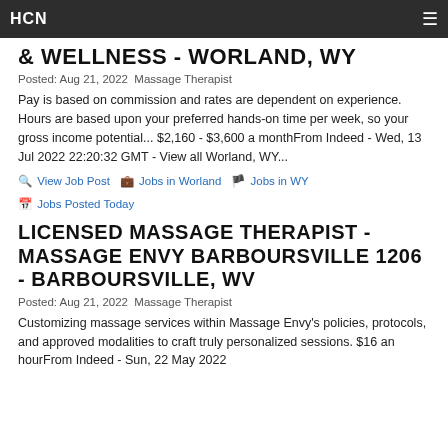HCN
& WELLNESS - WORLAND, WY
Posted: Aug 21, 2022 Massage Therapist
Pay is based on commission and rates are dependent on experience. Hours are based upon your preferred hands-on time per week, so your gross income potential... $2,160 - $3,600 a monthFrom Indeed - Wed, 13 Jul 2022 22:20:32 GMT - View all Worland, WY...
View Job Post
Jobs in Worland
Jobs in WY
Jobs Posted Today
LICENSED MASSAGE THERAPIST - MASSAGE ENVY BARBOURSVILLE 1206 - BARBOURSVILLE, WV
Posted: Aug 21, 2022 Massage Therapist
Customizing massage services within Massage Envy's policies, protocols, and approved modalities to craft truly personalized sessions. $16 an hourFrom Indeed - Sun, 22 May 2022